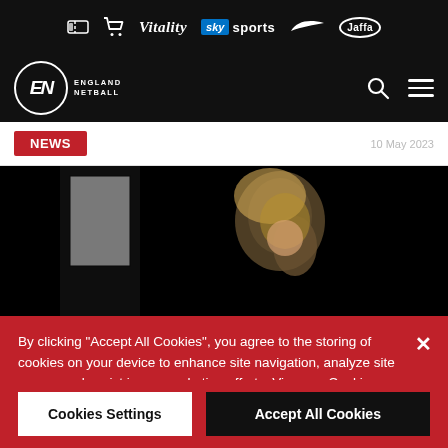Vitality sky sports Nike Jaffa - sponsor bar
[Figure (logo): England Netball logo with navigation bar showing search and menu icons]
News | date
[Figure (photo): Black and white photo of a blonde woman looking down, with dark background and white/black clothing]
By clicking "Accept All Cookies", you agree to the storing of cookies on your device to enhance site navigation, analyze site usage, and assist in our marketing efforts. View our Cookie Policy here - Cookie Policy
Cookies Settings | Accept All Cookies